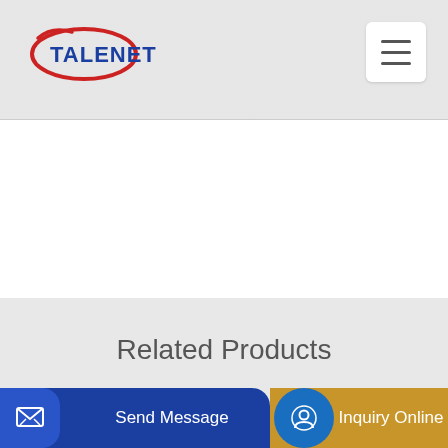TALENET
Related Products
hot sell concrete batching plant 180mh hzs180
2020 hzs90 90cbm h concrete batching plant
Send Message | Inquiry Online